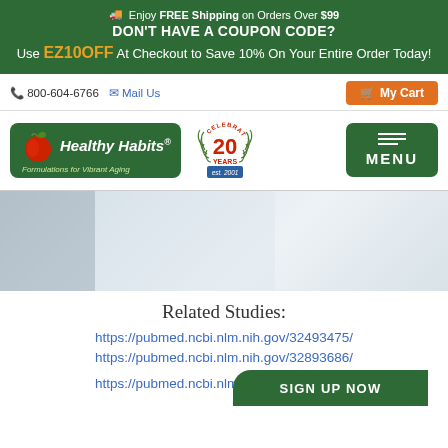🚚 Enjoy FREE Shipping on Orders Over $99
DON'T HAVE A COUPON CODE?
Use EZ10OFF At Checkout to Save 10% On Your Entire Order Today!
800-604-6766  Mail Us
[Figure (logo): Healthy Habits logo - green rounded rectangle with red apple and white italic text 'Healthy Habits®', tagline 'Formulations for Vibrant Aging']
[Figure (logo): 20 Years Celebrating est. 2001 badge with laurel wreath]
[Figure (screenshot): Website navigation header area with My Cart button and MENU button]
[Figure (photo): Hero banner image - light blue/grey blurred background suggesting health/wellness products]
Related Studies:
https://pubmed.ncbi.nlm.nih.gov/32493475/
https://pubmed.ncbi.nlm.nih.gov/32893686/
https://pubmed.ncbi.nlm.nih.gov/...
SIGN UP NOW